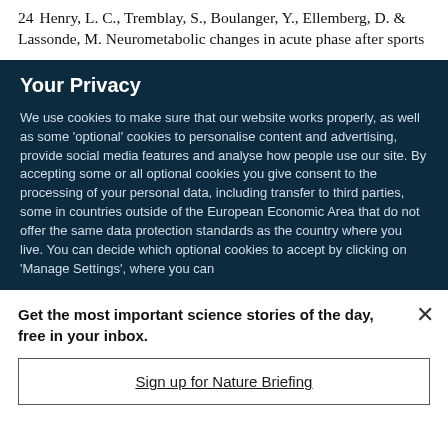24 Henry, L. C., Tremblay, S., Boulanger, Y., Ellemberg, D. & Lassonde, M. Neurometabolic changes in acute phase after sports
Your Privacy
We use cookies to make sure that our website works properly, as well as some 'optional' cookies to personalise content and advertising, provide social media features and analyse how people use our site. By accepting some or all optional cookies you give consent to the processing of your personal data, including transfer to third parties, some in countries outside of the European Economic Area that do not offer the same data protection standards as the country where you live. You can decide which optional cookies to accept by clicking on 'Manage Settings', where you can
Get the most important science stories of the day, free in your inbox.
Sign up for Nature Briefing